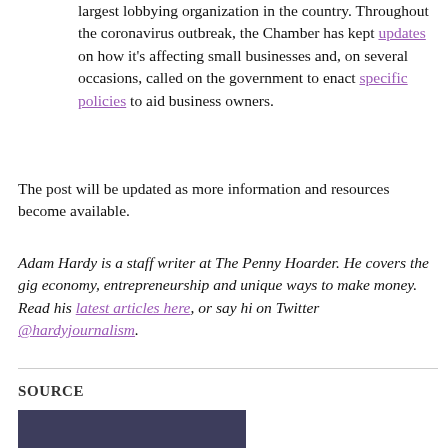largest lobbying organization in the country. Throughout the coronavirus outbreak, the Chamber has kept updates on how it's affecting small businesses and, on several occasions, called on the government to enact specific policies to aid business owners.
The post will be updated as more information and resources become available.
Adam Hardy is a staff writer at The Penny Hoarder. He covers the gig economy, entrepreneurship and unique ways to make money. Read his latest articles here, or say hi on Twitter @hardyjournalism.
SOURCE
[Figure (other): Dark blue/purple colored image block at the bottom of the page representing a source image.]